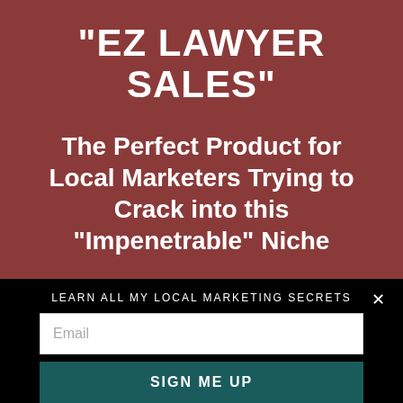"EZ LAWYER SALES"
The Perfect Product for Local Marketers Trying to Crack into this "Impenetrable" Niche
LEARN ALL MY LOCAL MARKETING SECRETS
Email
SIGN ME UP